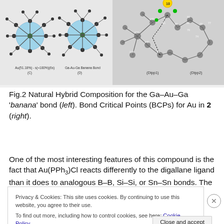[Figure (illustration): Molecular structure diagrams showing Au(51.18%)-s(≈100%)(6s) (C) and Ga-Au-Ga Banana Bond (D) on the left side, and Bond Critical Points (BCPs) for Au in compound 2 with labeled atoms and dashed bond paths on the right side.]
Fig.2 Natural Hybrid Composition for the Ga–Au–Ga 'banana' bond (left). Bond Critical Points (BCPs) for Au in 2 (right).
One of the most interesting features of this compound is the fact that Au(PPh3)Cl reacts differently to the digallane ligand than it does to analogous B–B, Si–Si, or Sn–Sn bonds. The Au–Cl bond does not undergo metathesis as